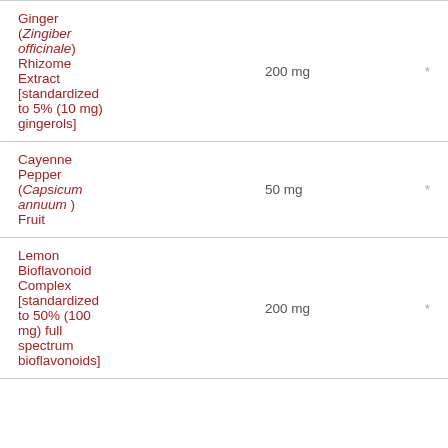| Ingredient | Amount | %DV |
| --- | --- | --- |
| Ginger (Zingiber officinale) Rhizome Extract [standardized to 5% (10 mg) gingerols] | 200 mg | * |
| Cayenne Pepper (Capsicum annuum ) Fruit | 50 mg | * |
| Lemon Bioflavonoid Complex [standardized to 50% (100 mg) full spectrum bioflavonoids] | 200 mg | * |